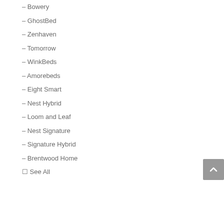– Bowery
– GhostBed
– Zenhaven
– Tomorrow
– WinkBeds
– Amorebeds
– Eight Smart
– Nest Hybrid
– Loom and Leaf
– Nest Signature
– Signature Hybrid
– Brentwood Home
□ See All